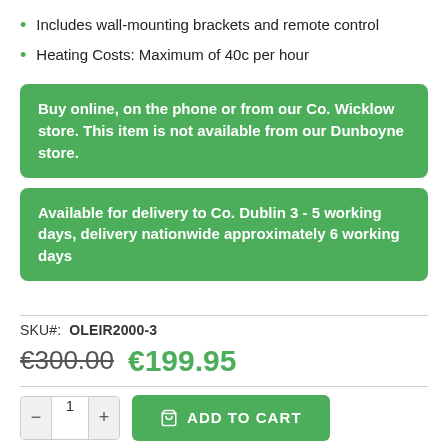Includes wall-mounting brackets and remote control
Heating Costs: Maximum of 40c per hour
Buy online, on the phone or from our Co. Wicklow store. This item is not available from our Dunboyne store.
Available for delivery to Co. Dublin 3 - 5 working days, delivery nationwide approximately 6 working days
SKU#:  OLEIR2000-3
€300.00  €199.95
ADD TO CART